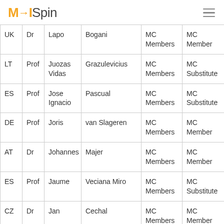MOISpin
| Country | Title | First Name | Last Name | Group | Role |
| --- | --- | --- | --- | --- | --- |
| UK | Dr | Lapo | Bogani | MC Members | MC Member |
| LT | Prof | Juozas Vidas | Grazulevicius | MC Members | MC Substitute |
| ES | Prof | Jose Ignacio | Pascual | MC Members | MC Substitute |
| DE | Prof | Joris | van Slageren | MC Members | MC Member |
| AT | Dr | Johannes | Majer | MC Members | MC Member |
| ES | Prof | Jaume | Veciana Miro | MC Members | MC Substitute |
| CZ | Dr | Jan | Cechal | MC Members | MC Member |